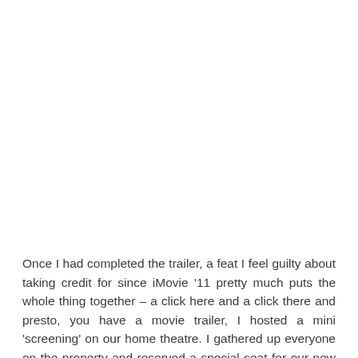[Figure (logo): Facebook icon — white lowercase 'f' on a dark blue square background]
Once I had completed the trailer, a feat I feel guilty about taking credit for since iMovie '11 pretty much puts the whole thing together – a click here and a click there and presto, you have a movie trailer, I hosted a mini 'screening' on our home theatre. I gathered up everyone on the property and reserved a special seat for our new star. Everyone enjoyed it, especially my mom... who cried. But that was to be expected because my mom always gets emotional for things.